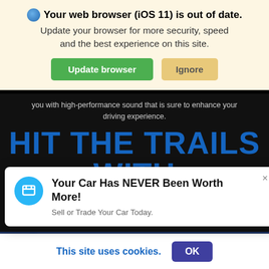[Figure (screenshot): Browser update notification banner with globe icon, bold text 'Your web browser (iOS 11) is out of date.', subtitle text, green 'Update browser' button and beige 'Ignore' button on cream background]
you with high-performance sound that is sure to enhance your driving experience.
HIT THE TRAILS WITH EASE
[Figure (screenshot): White popup notification card with blue circle chat icon, text 'Your Car Has NEVER Been Worth More!' and subtitle 'Sell or Trade Your Car Today.' with close X button]
ay
[Figure (screenshot): Dark navy chat bubble circle with three blue dots and tail at bottom left]
[Figure (photo): Snow-capped mountain range photo strip]
[Figure (screenshot): Cookie consent banner at bottom: 'This site uses cookies.' with purple OK button]